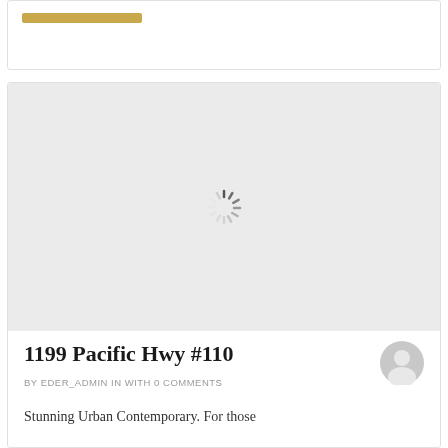[Figure (other): Top card with gold bar/button element, partially visible at top of page]
[Figure (other): Loading spinner (animated spinner icon) centered in a light gray image placeholder area]
1199 Pacific Hwy #110
BY EDER_ADMIN IN WITH 0 COMMENTS
Stunning Urban Contemporary. For those